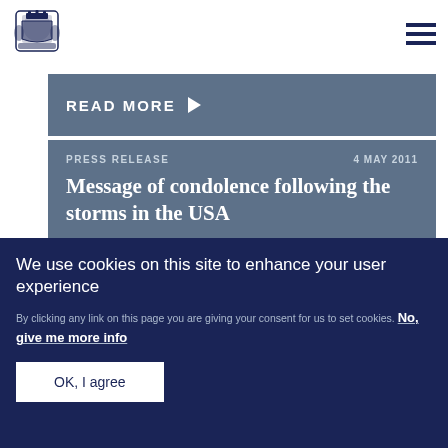[Figure (logo): UK Government coat of arms logo in dark blue]
Read more ▶
PRESS RELEASE   4 MAY 2011
Message of condolence following the storms in the USA
We use cookies on this site to enhance your user experience
By clicking any link on this page you are giving your consent for us to set cookies. No, give me more info
OK, I agree